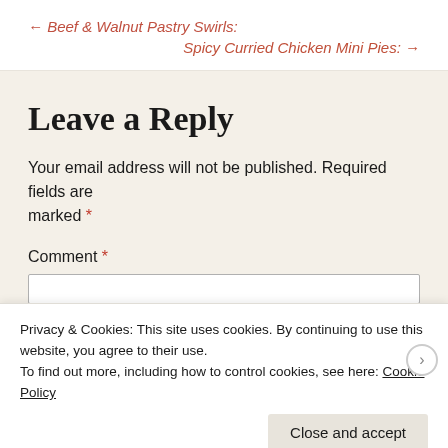← Beef & Walnut Pastry Swirls:
Spicy Curried Chicken Mini Pies: →
Leave a Reply
Your email address will not be published. Required fields are marked *
Comment *
Privacy & Cookies: This site uses cookies. By continuing to use this website, you agree to their use. To find out more, including how to control cookies, see here: Cookie Policy
Close and accept